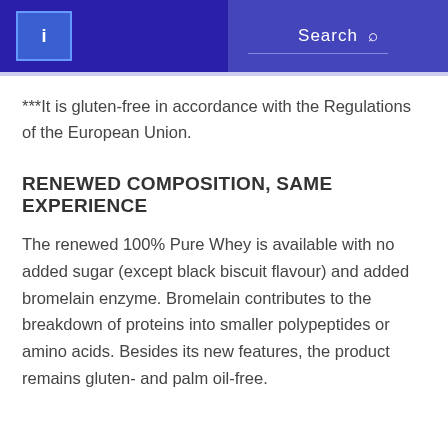Search
***It is gluten-free in accordance with the Regulations of the European Union.
RENEWED COMPOSITION, SAME EXPERIENCE
The renewed 100% Pure Whey is available with no added sugar (except black biscuit flavour) and added bromelain enzyme. Bromelain contributes to the breakdown of proteins into smaller polypeptides or amino acids. Besides its new features, the product remains gluten- and palm oil-free.